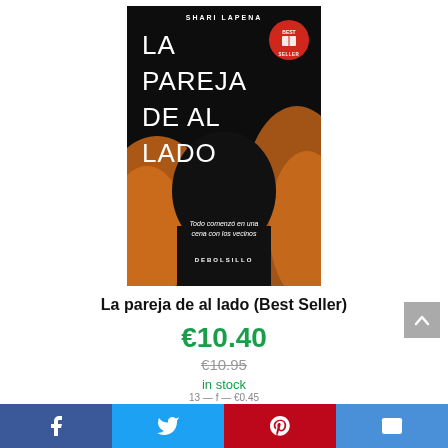[Figure (illustration): Book cover of 'La pareja de al lado' by Shari Lapena. Dark background with silhouette of a woman's head with auburn hair. Title in large white letters. Best Seller badge in red circle top right. Tagline: 'Todo comenzó en una cena con los vecinos'. Publisher: DEBOLSILLO.]
La pareja de al lado (Best Seller)
€10.40
€10.95
in stock